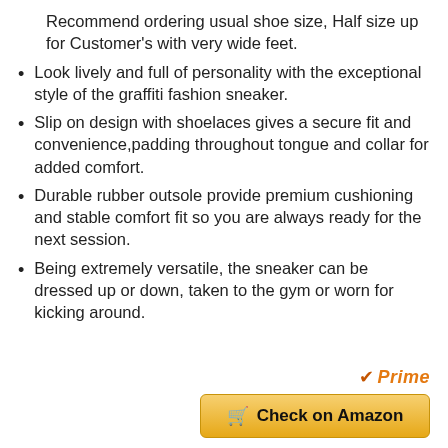Recommend ordering usual shoe size, Half size up for Customer's with very wide feet.
Look lively and full of personality with the exceptional style of the graffiti fashion sneaker.
Slip on design with shoelaces gives a secure fit and convenience,padding throughout tongue and collar for added comfort.
Durable rubber outsole provide premium cushioning and stable comfort fit so you are always ready for the next session.
Being extremely versatile, the sneaker can be dressed up or down, taken to the gym or worn for kicking around.